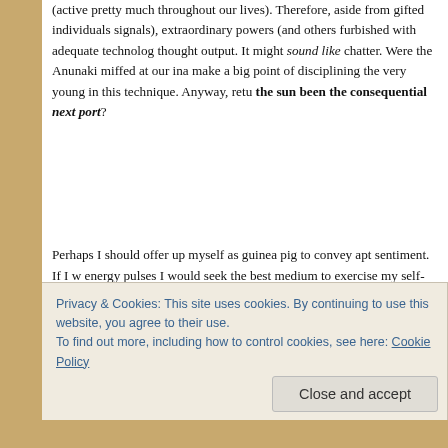(active pretty much throughout our lives). Therefore, aside from gifted individuals (and others furbished with adequate technology), it might sound like chatter. Were the Anunaki miffed at our inability to make a big point of disciplining the very young in this technique. Anyway, retu the sun been the consequential next port?
Perhaps I should offer up myself as guinea pig to convey apt sentiment. If I w energy pulses I would seek the best medium to exercise my self-expression s intelligent living). For me that medium would furbish sufficient functionality to deistic weather systems provide the perfect formula, but they would need to prospective worshippers. In this cosmic domain, our sun best satisfies that a numerous worshipping cultures. Pertinent also, I touched on "cubed light" ear
Privacy & Cookies: This site uses cookies. By continuing to use this website, you agree to their use.
To find out more, including how to control cookies, see here: Cookie Policy
Close and accept